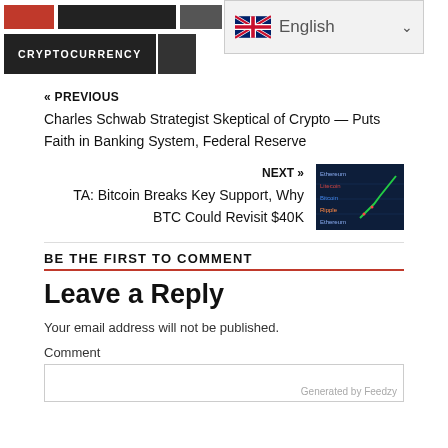CRYPTOCURRENCY | English
« PREVIOUS
Charles Schwab Strategist Skeptical of Crypto — Puts Faith in Banking System, Federal Reserve
NEXT »
TA: Bitcoin Breaks Key Support, Why BTC Could Revisit $40K
BE THE FIRST TO COMMENT
Leave a Reply
Your email address will not be published.
Comment